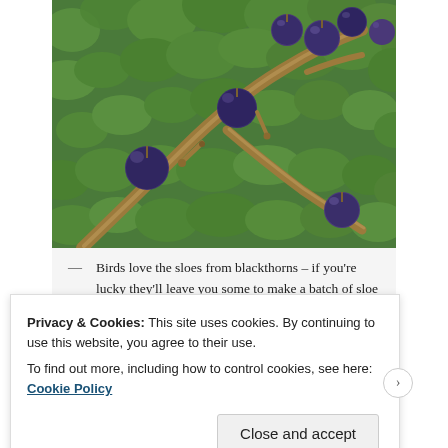[Figure (photo): Close-up photograph of dark blue-purple sloe berries growing on a blackthorn branch, surrounded by green leaves.]
— Birds love the sloes from blackthorns – if you're lucky they'll leave you some to make a batch of sloe gin in
Privacy & Cookies: This site uses cookies. By continuing to use this website, you agree to their use. To find out more, including how to control cookies, see here: Cookie Policy